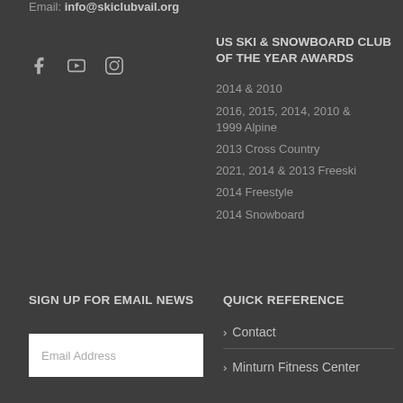Email: info@skiclubvail.org
[Figure (other): Social media icons: Facebook, YouTube, Instagram]
US SKI & SNOWBOARD CLUB OF THE YEAR AWARDS
2014 & 2010
2016, 2015, 2014, 2010 & 1999 Alpine
2013 Cross Country
2021, 2014 & 2013 Freeski
2014 Freestyle
2014 Snowboard
SIGN UP FOR EMAIL NEWS
Email Address
QUICK REFERENCE
> Contact
> Minturn Fitness Center